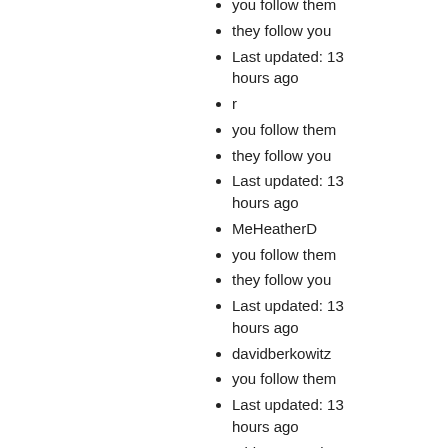you follow them
they follow you
Last updated: 13 hours ago
r
you follow them
they follow you
Last updated: 13 hours ago
MeHeatherD
you follow them
they follow you
Last updated: 13 hours ago
davidberkowitz
you follow them
Last updated: 13 hours ago
midwesttraveler
you follow them
Last updated: 13 hours ago
bmorrissey
you follow them
they follow you
Last updated: 13 hours ago
adellecharles
you follow them
they follow you